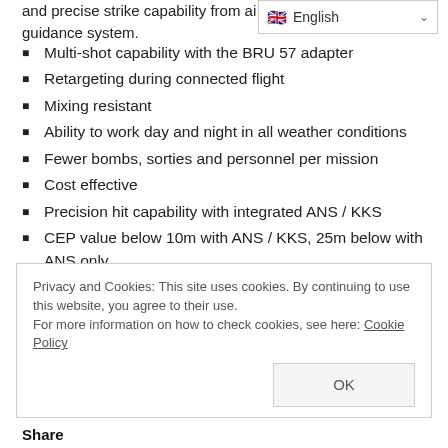and precise strike capability from ai...IS guidance system.
Multi-shot capability with the BRU 57 adapter
Retargeting during connected flight
Mixing resistant
Ability to work day and night in all weather conditions
Fewer bombs, sorties and personnel per mission
Cost effective
Precision hit capability with integrated ANS / KKS
CEP value below 10m with ANS / KKS, 25m below with ANS only
Privacy and Cookies: This site uses cookies. By continuing to use this website, you agree to their use. For more information on how to check cookies, see here: Cookie Policy
Share